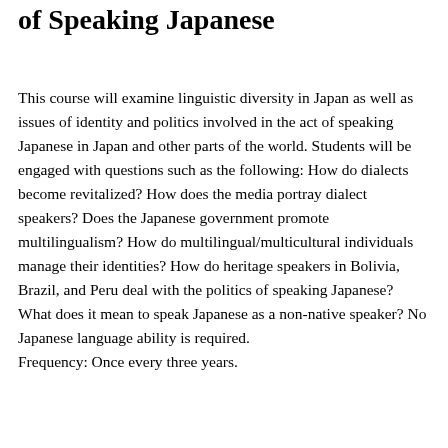of Speaking Japanese
This course will examine linguistic diversity in Japan as well as issues of identity and politics involved in the act of speaking Japanese in Japan and other parts of the world. Students will be engaged with questions such as the following: How do dialects become revitalized? How does the media portray dialect speakers? Does the Japanese government promote multilingualism? How do multilingual/multicultural individuals manage their identities? How do heritage speakers in Bolivia, Brazil, and Peru deal with the politics of speaking Japanese? What does it mean to speak Japanese as a non-native speaker? No Japanese language ability is required.
Frequency: Once every three years.